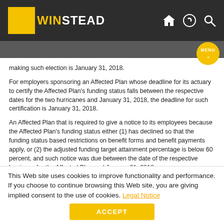WINSTEAD
making such election is January 31, 2018.
For employers sponsoring an Affected Plan whose deadline for its actuary to certify the Affected Plan's funding status falls between the respective dates for the two hurricanes and January 31, 2018, the deadline for such certification is January 31, 2018.
An Affected Plan that is required to give a notice to its employees because the Affected Plan's funding status either (1) has declined so that the funding status based restrictions on benefit forms and benefit payments apply, or (2) the adjusted funding target attainment percentage is below 60 percent, and such notice was due between the date of the respective hurricane for the Affected Plan and January 31, 2018,
The Affected Plans whose minimum funding contribution deadline was extended in the hurricanes Harvey and Irma guidance who make the minimum required contributions by the extended deadlines will be able to count those minimum contributions in determining their PBGC variable rate premium if the
This Web site uses cookies to improve functionality and performance. If you choose to continue browsing this Web site, you are giving implied consent to the use of cookies. Legal Notice